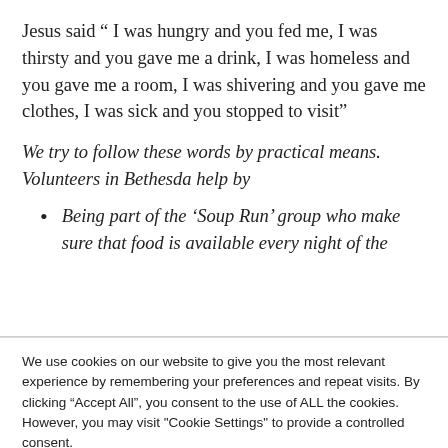Jesus said “ I was hungry and you fed me, I was thirsty and you gave me a drink, I was homeless and you gave me a room, I was shivering and you gave me clothes, I was sick and you stopped to visit”
We try to follow these words by practical means. Volunteers in Bethesda help by
Being part of the ‘Soup Run’ group who make sure that food is available every night of the
We use cookies on our website to give you the most relevant experience by remembering your preferences and repeat visits. By clicking “Accept All”, you consent to the use of ALL the cookies. However, you may visit "Cookie Settings" to provide a controlled consent.